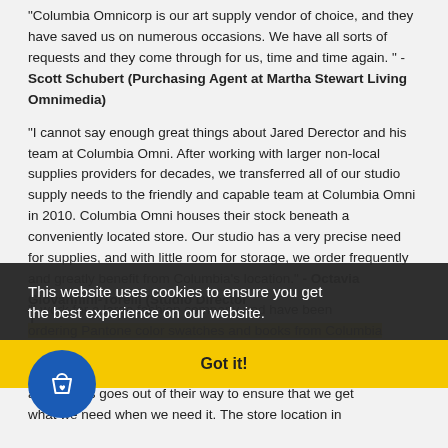“Columbia Omnicorp is our art supply vendor of choice, and they have saved us on numerous occasions. We have all sorts of requests and they come through for us, time and time again. ” - Scott Schubert (Purchasing Agent at Martha Stewart Living Omnimedia)
“I cannot say enough great things about Jared Derector and his team at Columbia Omni. After working with larger non-local supplies providers for decades, we transferred all of our studio supply needs to the friendly and capable team at Columbia Omni in 2010. Columbia Omni houses their stock beneath a conveniently located store. Our studio has a very precise need for supplies, and with little room for storage, we order frequently and greatly benefit from Columbia’s location.” - Octavia Giovannini-Torelli (Studio Director …)
“I work for a large fashion company and have been ordering Pantone color swatches and books from Columbia almost on a daily basis for over 8 years. The customer service team is extremely pleasant to deal with and always goes out of their way to ensure that we get what we need when we need it. The store location in…
This website uses cookies to ensure you get the best experience on our website.
Got it!